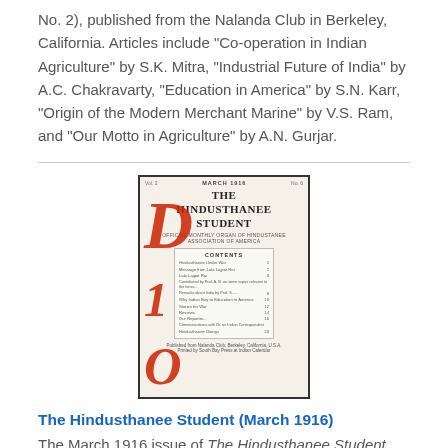No. 2), published from the Nalanda Club in Berkeley, California. Articles include "Co-operation in Indian Agriculture" by S.K. Mitra, "Industrial Future of India" by A.C. Chakravarty, "Education in America" by S.N. Karr, "Origin of the Modern Merchant Marine" by V.S. Ram, and "Our Motto in Agriculture" by A.N. Gurjar.
[Figure (photo): Cover of The Hindusthanee Student magazine, March 1916, Vol. 2 No. 6, showing the title 'THE HINDUSTHANEE STUDENT' with a contents listing, published from Nalanda Club, Berkeley, California. Red handwritten markings overlay the cover.]
The Hindusthanee Student (March 1916)
The March 1916 issue of The Hindusthanee Student (Vol. 2, No. 6), published from the Nalanda Club in Berkeley, California. The issue focuses in large part on Lala Lajpat Rai, who resided